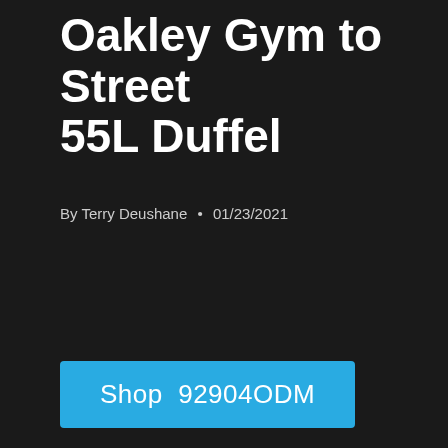Oakley Gym to Street 55L Duffel
By Terry Deushane • 01/23/2021
Shop  92904ODM